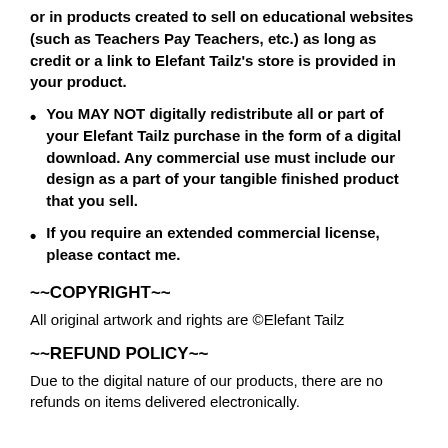or in products created to sell on educational websites (such as Teachers Pay Teachers, etc.) as long as credit or a link to Elefant Tailz's store is provided in your product.
You MAY NOT digitally redistribute all or part of your Elefant Tailz purchase in the form of a digital download. Any commercial use must include our design as a part of your tangible finished product that you sell.
If you require an extended commercial license, please contact me.
~~COPYRIGHT~~
All original artwork and rights are ©Elefant Tailz
~~REFUND POLICY~~
Due to the digital nature of our products, there are no refunds on items delivered electronically.